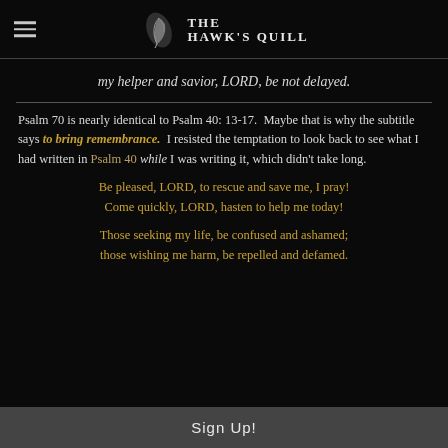The Hawk's Quill
my helper and savior, LORD, be not delayed.
Psalm 70 is nearly identical to Psalm 40: 13-17.  Maybe that is why the subtitle says to bring remembrance.  I resisted the temptation to look back to see what I had written in Psalm 40 while I was writing it, which didn't take long.
Be pleased, LORD, to rescue and save me, I pray!
Come quickly, LORD, hasten to help me today!
Those seeking my life, be confused and ashamed;
those wishing me harm, be repelled and defamed.
Sign Up!